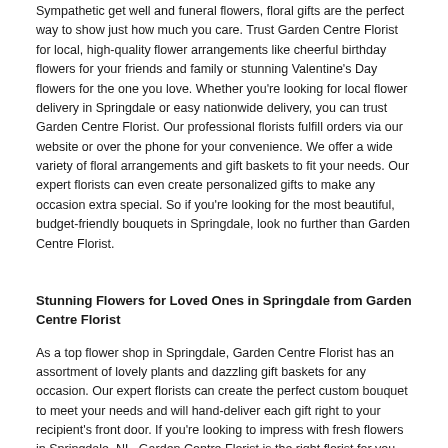Sympathetic get well and funeral flowers, floral gifts are the perfect way to show just how much you care. Trust Garden Centre Florist for local, high-quality flower arrangements like cheerful birthday flowers for your friends and family or stunning Valentine's Day flowers for the one you love. Whether you're looking for local flower delivery in Springdale or easy nationwide delivery, you can trust Garden Centre Florist. Our professional florists fulfill orders via our website or over the phone for your convenience. We offer a wide variety of floral arrangements and gift baskets to fit your needs. Our expert florists can even create personalized gifts to make any occasion extra special. So if you're looking for the most beautiful, budget-friendly bouquets in Springdale, look no further than Garden Centre Florist.
Stunning Flowers for Loved Ones in Springdale from Garden Centre Florist
As a top flower shop in Springdale, Garden Centre Florist has an assortment of lovely plants and dazzling gift baskets for any occasion. Our expert florists can create the perfect custom bouquet to meet your needs and will hand-deliver each gift right to your recipient's front door. If you're looking to impress with fresh flowers in Springdale, NL, Garden Centre Florist is the right florist for you.